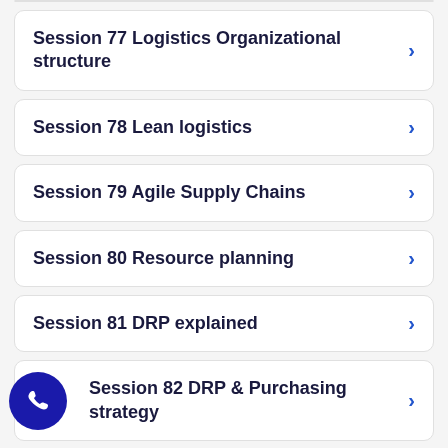Session 77 Logistics Organizational structure
Session 78 Lean logistics
Session 79 Agile Supply Chains
Session 80 Resource planning
Session 81 DRP explained
Session 82 DRP & Purchasing strategy